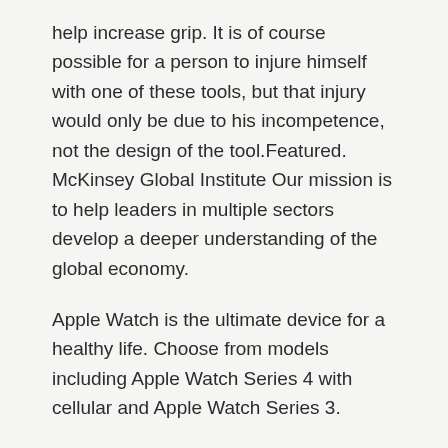help increase grip. It is of course possible for a person to injure himself with one of these tools, but that injury would only be due to his incompetence, not the design of the tool.Featured. McKinsey Global Institute Our mission is to help leaders in multiple sectors develop a deeper understanding of the global economy.
Apple Watch is the ultimate device for a healthy life. Choose from models including Apple Watch Series 4 with cellular and Apple Watch Series 3.
People Management homepage
Rather than argue the primacy of one or the other factor or the cliché of mutuality in the humanity-technology relationship, we can better pursue understanding through a structural examination of three forms the relationship itself can take, three ways of being-with